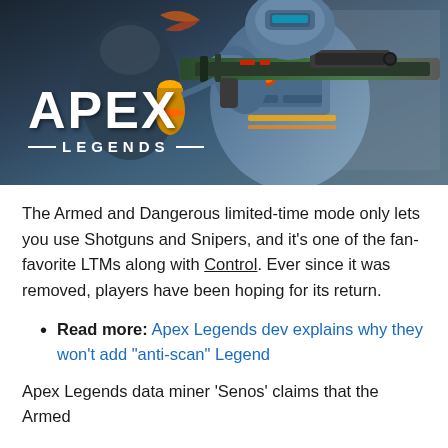[Figure (illustration): Apex Legends game promotional image showing an armored robot character holding a green sniper rifle, with the Apex Legends logo (white text with decorative lines around 'LEGENDS') overlaid on the lower left of the image against a dark blue/grey background.]
The Armed and Dangerous limited-time mode only lets you use Shotguns and Snipers, and it's one of the fan-favorite LTMs along with Control. Ever since it was removed, players have been hoping for its return.
Read more: Apex Legends dev explains why they won't add “anti-scan” Legend
Apex Legends data miner ‘Senos’ claims that the Armed